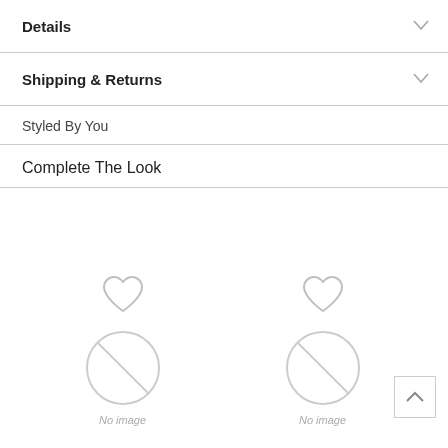Details
Shipping & Returns
Styled By You
Complete The Look
[Figure (screenshot): Two product placeholder slots with heart/wishlist icons above and 'No image' placeholder circles below, plus a scroll-to-top button in bottom right.]